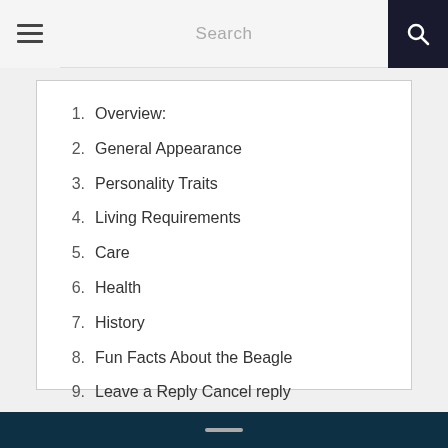Search
1. Overview:
2. General Appearance
3. Personality Traits
4. Living Requirements
5. Care
6. Health
7. History
8. Fun Facts About the Beagle
9. Leave a Reply Cancel reply